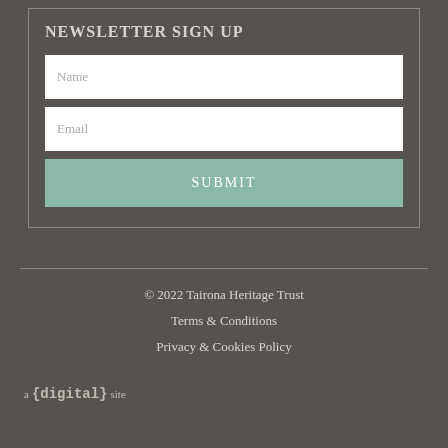NEWSLETTER SIGN UP
Name
Email
SUBMIT
© 2022 Tairona Heritage Trust
Terms & Conditions
Privacy & Cookies Policy
a {digital} site